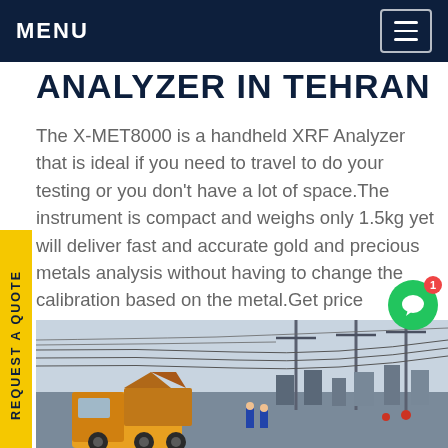MENU
ANALYZER IN TEHRAN
The X-MET8000 is a handheld XRF Analyzer that is ideal if you need to travel to do your testing or you don't have a lot of space.The instrument is compact and weighs only 1.5kg yet will deliver fast and accurate gold and precious metals analysis without having to change the calibration based on the metal.Get price
[Figure (photo): Industrial electrical substation with power lines, transmission towers, and a yellow truck in the foreground]
REQUEST A QUOTE